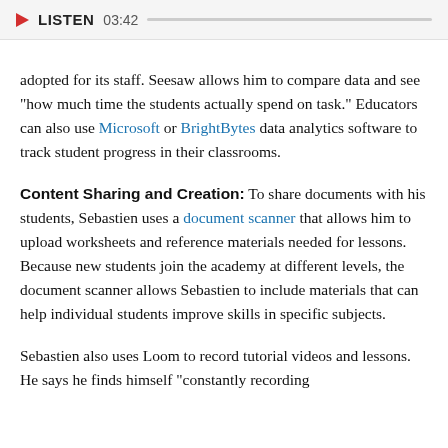LISTEN 03:42
adopted for its staff. Seesaw allows him to compare data and see "how much time the students actually spend on task." Educators can also use Microsoft or BrightBytes data analytics software to track student progress in their classrooms.
Content Sharing and Creation: To share documents with his students, Sebastien uses a document scanner that allows him to upload worksheets and reference materials needed for lessons. Because new students join the academy at different levels, the document scanner allows Sebastien to include materials that can help individual students improve skills in specific subjects.
Sebastien also uses Loom to record tutorial videos and lessons. He says he finds himself "constantly recording tutorial videos so students feel free to ask him...